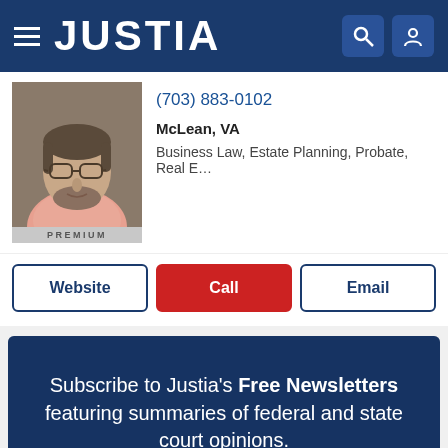JUSTIA
(703) 883-0102
McLean, VA
Business Law, Estate Planning, Probate, Real E...
PREMIUM
Website
Call
Email
[Figure (infographic): Newsletter subscription banner with dark blue background and keyboard photo. Text reads: Subscribe to Justia's Free Newsletters featuring summaries of federal and state court opinions. Yellow Subscribe Now button.]